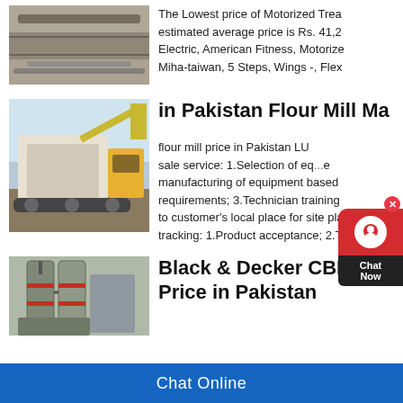[Figure (photo): Industrial conveyor belt equipment at a facility]
The Lowest price of Motorized Trea... estimated average price is Rs. 41,2... Electric, American Fitness, Motorize... Miha-taiwan, 5 Steps, Wings -, Flex...
[Figure (photo): Heavy mining/crushing machinery outdoors with yellow excavator in background]
in Pakistan Flour Mill Ma...
flour mill price in Pakistan LU... sale service: 1.Selection of eq...e manufacturing of equipment based ... requirements; 3.Technician training... to customer's local place for site pla... tracking: 1.Product acceptance; 2.T...
[Figure (photo): Industrial vertical milling equipment with silos/tanks]
Black & Decker CBM3 C... Price in Pakistan
Chat Online